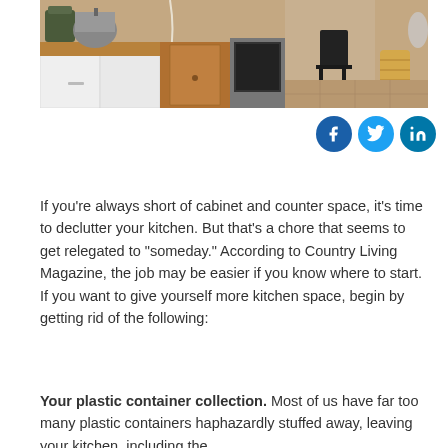[Figure (photo): Photo of a cluttered kitchen countertop with pots, appliances, cabinets, a chair, and various items on the counter]
[Figure (other): Social media share icons: Facebook (blue circle), Twitter (light blue circle), LinkedIn (teal circle)]
If you’re always short of cabinet and counter space, it’s time to declutter your kitchen. But that’s a chore that seems to get relegated to “someday.” According to Country Living Magazine, the job may be easier if you know where to start. If you want to give yourself more kitchen space, begin by getting rid of the following:
Your plastic container collection. Most of us have far too many plastic containers haphazardly stuffed away, leaving your kitchen, including the